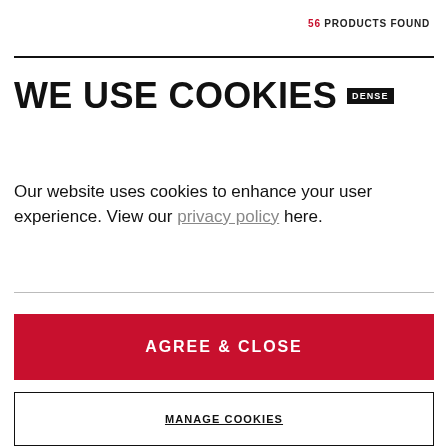56 PRODUCTS FOUND
WE USE COOKIES DENSE
Our website uses cookies to enhance your user experience. View our privacy policy here.
AGREE & CLOSE
MANAGE COOKIES